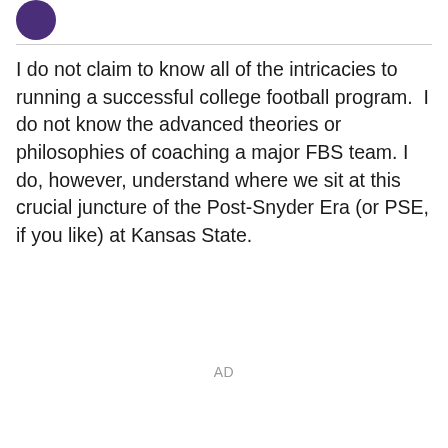[Figure (logo): Purple circular logo/avatar in top left corner]
I do not claim to know all of the intricacies to running a successful college football program.  I do not know the advanced theories or philosophies of coaching a major FBS team. I do, however, understand where we sit at this crucial juncture of the Post-Snyder Era (or PSE, if you like) at Kansas State.
AD